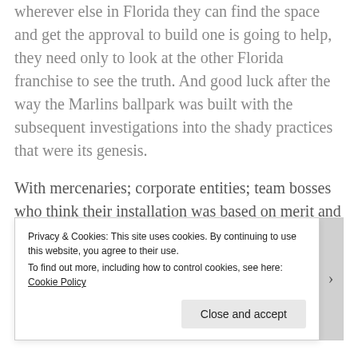wherever else in Florida they can find the space and get the approval to build one is going to help, they need only to look at the other Florida franchise to see the truth. And good luck after the way the Marlins ballpark was built with the subsequent investigations into the shady practices that were its genesis.
With mercenaries; corporate entities; team bosses who think their installation was based on merit and not on marrying someone; and questionable ethics and morals, the Marlins are getting what many think they deserve. It gets worse from here.
Privacy & Cookies: This site uses cookies. By continuing to use this website, you agree to their use. To find out more, including how to control cookies, see here: Cookie Policy